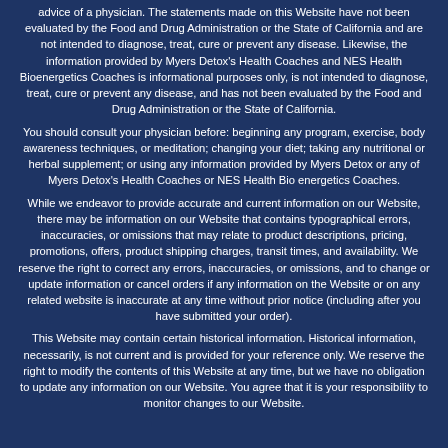advice of a physician. The statements made on this Website have not been evaluated by the Food and Drug Administration or the State of California and are not intended to diagnose, treat, cure or prevent any disease. Likewise, the information provided by Myers Detox's Health Coaches and NES Health Bioenergetics Coaches is informational purposes only, is not intended to diagnose, treat, cure or prevent any disease, and has not been evaluated by the Food and Drug Administration or the State of California.
You should consult your physician before: beginning any program, exercise, body awareness techniques, or meditation; changing your diet; taking any nutritional or herbal supplement; or using any information provided by Myers Detox or any of Myers Detox's Health Coaches or NES Health Bioenergetics Coaches.
While we endeavor to provide accurate and current information on our Website, there may be information on our Website that contains typographical errors, inaccuracies, or omissions that may relate to product descriptions, pricing, promotions, offers, product shipping charges, transit times, and availability. We reserve the right to correct any errors, inaccuracies, or omissions, and to change or update information or cancel orders if any information on the Website or on any related website is inaccurate at any time without prior notice (including after you have submitted your order).
This Website may contain certain historical information. Historical information, necessarily, is not current and is provided for your reference only. We reserve the right to modify the contents of this Website at any time, but we have no obligation to update any information on our Website. You agree that it is your responsibility to monitor changes to our Website.